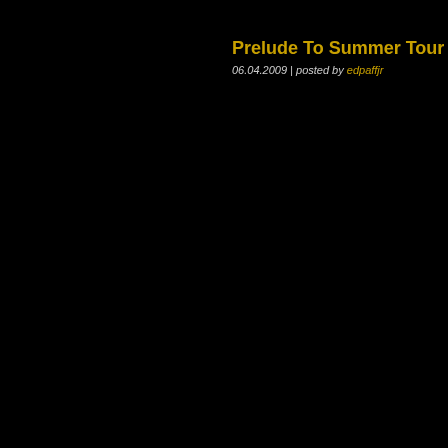Prelude To Summer Tour
06.04.2009 | posted by edpaffjr
[Figure (screenshot): Partially visible error badge reading 'Couldn't' on a dark background, bottom-right area of the page]